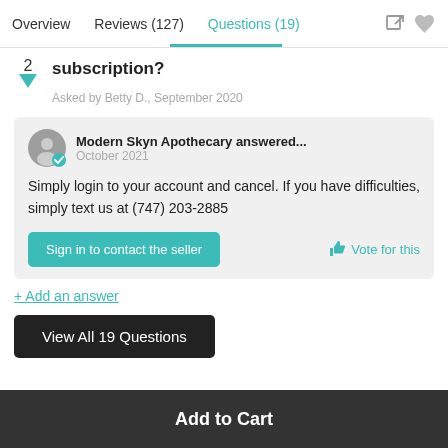Overview   Reviews (127)   Questions (19)
subscription?
Asked by Betty D., September 2020
Modern Skyn Apothecary answered... October 2021
Simply login to your account and cancel. If you have difficulties, simply text us at (747) 203-2885
Sign in to contact the seller
Vote for this
+ Add an answer
View All 19 Questions
Add to Cart